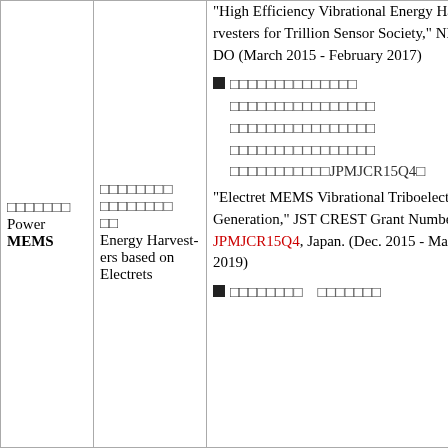| Category | Topic | Details |
| --- | --- | --- |
| □□□□□□□
Power MEMS | □□□□□□□□
□□□□□□□□
□□
Energy Harvesters based on Electrets | "High Efficiency Vibrational Energy Harvesters for Trillion Sensor Society," NEDO (March 2015 - February 2017)
■ □□□□□□□□□□□□□□
□□□□□□□□□□□□□□□□
□□□□□□□□□□□□□□□□
□□□□□□□□□□□□□□□□
□□□□□□□□□□□JPMJCR15Q4□
"Electret MEMS Vibrational Triboelectric Generation," JST CREST Grant Number JPMJCR15Q4, Japan. (Dec. 2015 - Mar. 2019)
■ □□□□□□□□  □□□□□□□ |